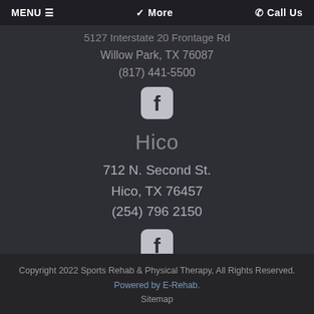MENU ≡   ❯ More   ☎ Call Us
5127 Interstate 20 Frontage Rd
Willow Park, TX 76087
(817) 441-5500
[Figure (logo): Facebook icon - rounded square with f logo]
Hico
712 N. Second St.
Hico, TX 76457
(254) 796 2150
[Figure (logo): Facebook icon - rounded square with f logo]
Copyright 2022 Sports Rehab & Physical Therapy, All Rights Reserved. Powered by E-Rehab. Sitemap